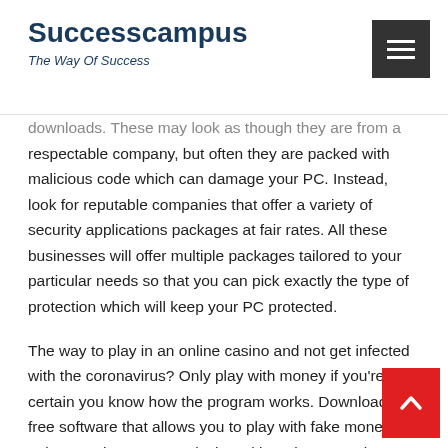Successcampus – The Way Of Success
downloads. These may look as though they are from a respectable company, but often they are packed with malicious code which can damage your PC. Instead, look for reputable companies that offer a variety of security applications packages at fair rates. All these businesses will offer multiple packages tailored to your particular needs so that you can pick exactly the type of protection which will keep your PC protected.
The way to play in an online casino and not get infected with the coronavirus? Only play with money if you're certain you know how the program works. Downloading free software that allows you to play with fake money is at least as insecure as playing with real money, since there's absolutely no method of telling whether the software is actually valid or not. And, if you're not careful, you might end up giving your credit card information to someone who has legitimate access to the Internet!